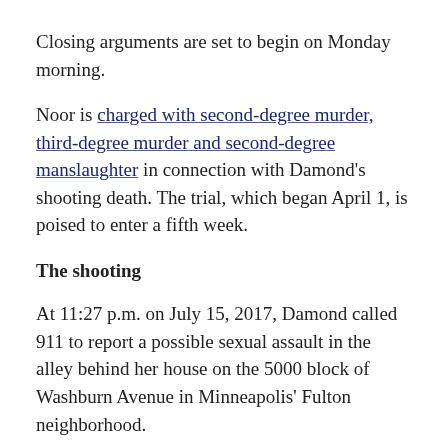Closing arguments are set to begin on Monday morning.
Noor is charged with second-degree murder, third-degree murder and second-degree manslaughter in connection with Damond’s shooting death. The trial, which began April 1, is poised to enter a fifth week.
The shooting
At 11:27 p.m. on July 15, 2017, Damond called 911 to report a possible sexual assault in the alley behind her house on the 5000 block of Washburn Avenue in Minneapolis’ Fulton neighborhood.
In his testimony, Justine’s fiancé, Don Damond, told the court that he had received a call from her a few minutes prior in which she told him about the related d...